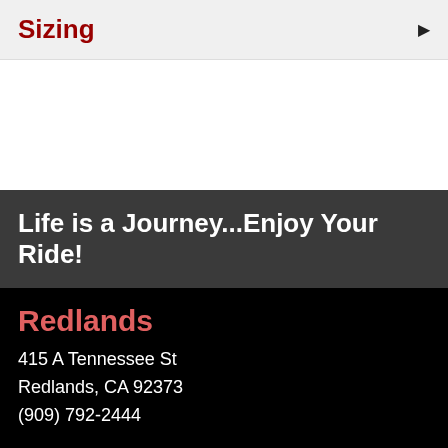Sizing
Life is a Journey...Enjoy Your Ride!
Redlands
415 A Tennessee St
Redlands, CA 92373
(909) 792-2444
Rancho Cucamonga
7890 Haven Ave, Suite 9
Rancho Cucamonga, CA 91730
(909) 466-5444